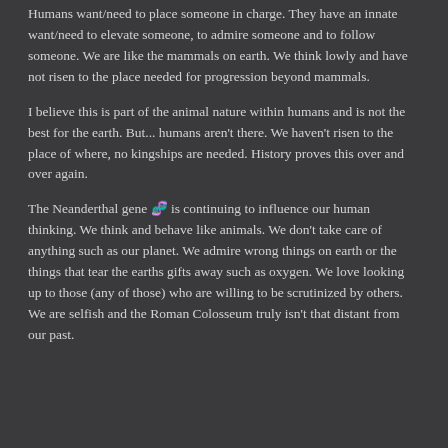Humans want/need to place someone in charge. They have an innate want/need to elevate someone, to admire someone and to follow someone. We are like the mammals on earth. We think lowly and have not risen to the place needed for progression beyond mammals.
I believe this is part of the animal nature within humans and is not the best for the earth. But... humans aren't there. We haven't risen to the place of where, no kingships are needed. History proves this over and over again.
The Neanderthal gene 🧬 is continuing to influence our human thinking. We think and behave like animals. We don't take care of anything such as our planet. We admire wrong things on earth or the things that tear the earths gifts away such as oxygen. We love looking up to those (any of those) who are willing to be scrutinized by others. We are selfish and the Roman Colosseum truly isn't that distant from our past.